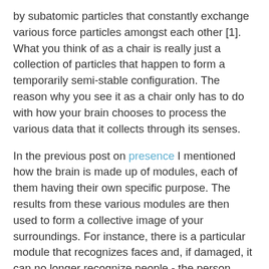by subatomic particles that constantly exchange various force particles amongst each other [1]. What you think of as a chair is really just a collection of particles that happen to form a temporarily semi-stable configuration. The reason why you see it as a chair only has to do with how your brain chooses to process the various data that it collects through its senses.
In the previous post on presence I mentioned how the brain is made up of modules, each of them having their own specific purpose. The results from these various modules are then used to form a collective image of your surroundings. For instance, there is a particular module that recognizes faces and, if damaged, it can no longer recognize people - the person affected will only see an object made up of some hair, a nose, two eyes and so forth. Recognizing individual people will only be possible if they have a particularly stand-out feature, like a large beard. Apart from that, all faces will look alike to this person. The normal flow of information is broken and something that most of us take for granted, an intrinsic part of our reality, is no longer present.